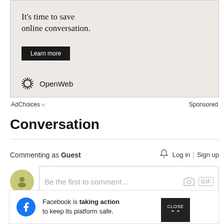[Figure (screenshot): Ad banner with text 'It's time to save online conversation.' and a Learn more button, OpenWeb logo]
AdChoices ▷   Sponsored
Conversation
Commenting as Guest  🔔  Log in | Sign up
[Figure (screenshot): Comment input box with avatar, placeholder 'Be the first to comment...', camera icon and GIF button]
[Figure (screenshot): Facebook bar: Facebook is taking action to keep its platform safe.]